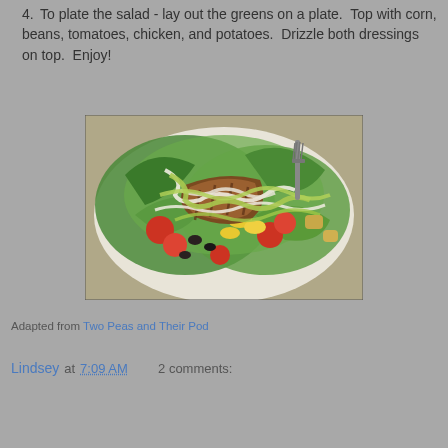4. To plate the salad - lay out the greens on a plate.  Top with corn, beans, tomatoes, chicken, and potatoes.  Drizzle both dressings on top.  Enjoy!
[Figure (photo): A photo of a plated salad with greens, corn, beans, tomatoes, grilled chicken pieces, and two dressings drizzled on top, with a fork visible in the upper right.]
Adapted from Two Peas and Their Pod
Lindsey at 7:09 AM    2 comments: